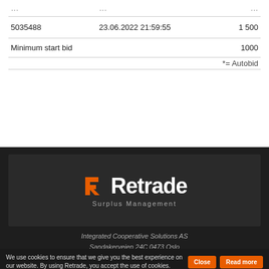| ID | Date/Time | Amount |
| --- | --- | --- |
| 5035488 | 23.06.2022 21:59:55 | 1 500 |
| Minimum start bid |  | 1000 |
*= Autobid
[Figure (logo): Retrade Surplus Management logo — orange geometric R icon with white text]
Integrated Cooperative Solutions AS
Sandakerveien 24C 0473 Oslo
We use cookies to ensure that we give you the best experience on our website. By using Retrade, you accept the use of cookies.